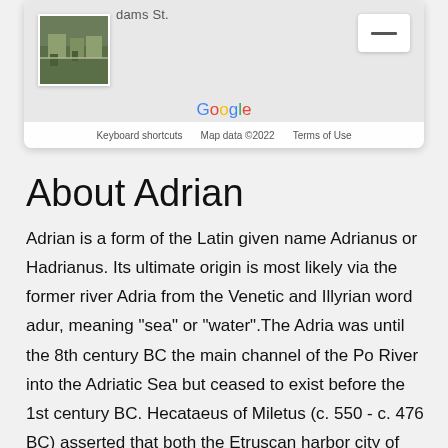[Figure (screenshot): Google Maps card showing a street view thumbnail, Google logo, and map attribution footer with 'Keyboard shortcuts', 'Map data ©2022', and 'Terms of Use']
About Adrian
Adrian is a form of the Latin given name Adrianus or Hadrianus. Its ultimate origin is most likely via the former river Adria from the Venetic and Illyrian word adur, meaning "sea" or "water".The Adria was until the 8th century BC the main channel of the Po River into the Adriatic Sea but ceased to exist before the 1st century BC. Hecataeus of Miletus (c. 550 - c. 476 BC) asserted that both the Etruscan harbor city of Adria and the Adriatic Sea had been named after it. Emperor Hadrian's family